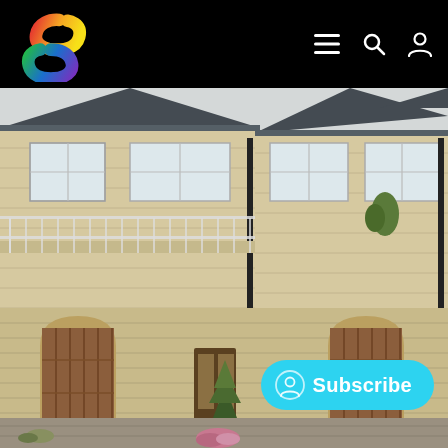[Figure (logo): Colorful S-shaped logo on black navigation bar with hamburger menu, search, and user profile icons]
[Figure (photo): Exterior photo of a multi-unit stone townhouse with dark slate roofs, white railing balcony, and two wooden garage doors. Flowers and small shrubs in front.]
Subscribe